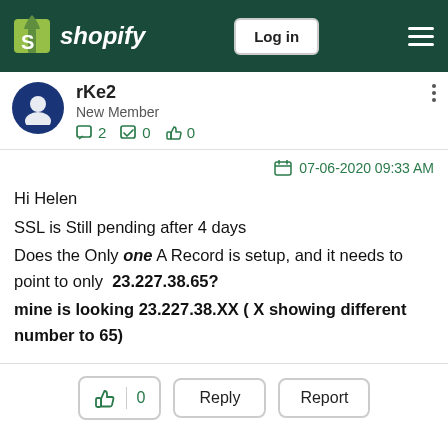[Figure (screenshot): Shopify website header with logo, Log in button, and hamburger menu on dark green background]
rKe2
New Member
2  0  0
07-06-2020 09:33 AM
Hi Helen
SSL is Still pending after 4 days
Does the Only one A Record is setup, and it needs to point to only  23.227.38.65?
mine is looking 23.227.38.XX ( X showing different number to 65)